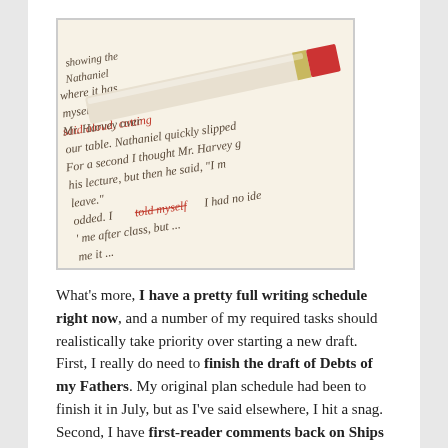[Figure (photo): A photo of a red and gold pencil resting on an open book page with handwritten italic text and some words crossed out in red, suggesting editing or proofreading.]
What's more, I have a pretty full writing schedule right now, and a number of my required tasks should realistically take priority over starting a new draft. First, I really do need to finish the draft of Debts of my Fathers. My original plan schedule had been to finish it in July, but as I've said elsewhere, I hit a snag. Second, I have first-reader comments back on Ships of My Fathers, and I need to make another editing pass on that, polish it, send it to my proofreader, and then start pushing it through the publishing process – something I had planned to do this calendar year. And third, I still have to